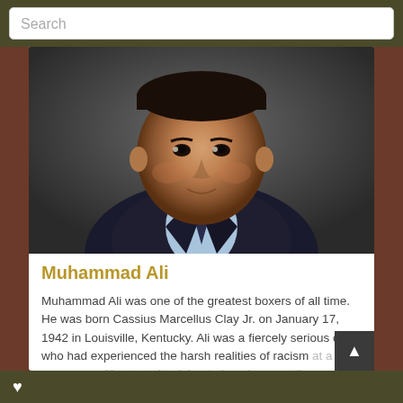Search
[Figure (photo): Portrait photo of Muhammad Ali in a dark suit with a light blue dress shirt and dark tie, smiling slightly, looking ahead]
Muhammad Ali
Muhammad Ali was one of the greatest boxers of all time. He was born Cassius Marcellus Clay Jr. on January 17, 1942 in Louisville, Kentucky. Ali was a fiercely serious child, who had experienced the harsh realities of racism at a very young age. He started training to be a boxer at the age of...
Read more
♥